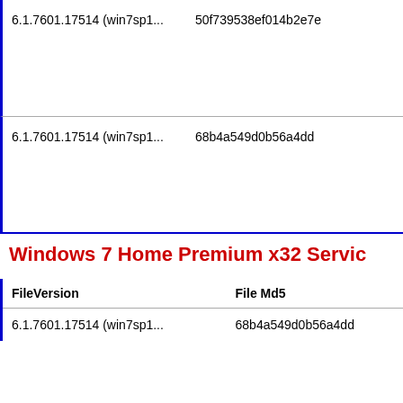| FileVersion | File Md5 |
| --- | --- |
| 6.1.7601.17514 (win7sp1... | 50f739538ef014b2e7e... |
| 6.1.7601.17514 (win7sp1... | 68b4a549d0b56a4dd... |
Windows 7 Home Premium x32 Servic...
| FileVersion | File Md5 |
| --- | --- |
| 6.1.7601.17514 (win7sp1... | 68b4a549d0b56a4dd... |